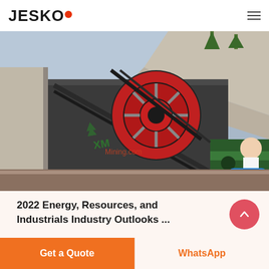JESCO
[Figure (photo): Industrial jaw crusher machine with red flywheel and belt drive, outdoor quarry/mining site setting. Watermark reads 'XMining.com'. A customer service representative icon with 'Free chat' button overlaid in the top-right corner of the image.]
2022 Energy, Resources, and Industrials Industry Outlooks ...
Get a Quote
WhatsApp